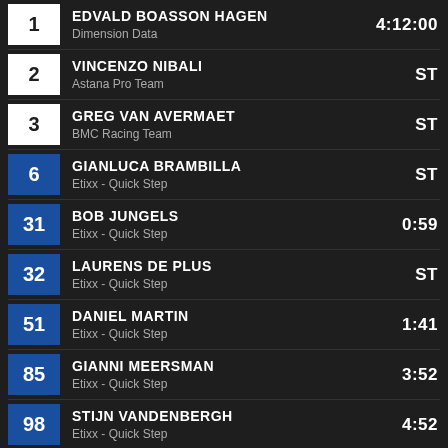1 EDVALD BOASSON HAGEN - Dimension Data - 4:12:00
2 VINCENZO NIBALI - Astana Pro Team - ST
3 GREG VAN AVERMAET - BMC Racing Team - ST
6 GIANLUCA BRAMBILLA - Etixx - Quick Step - ST
31 BOB JUNGELS - Etixx - Quick Step - 0:59
32 LAURENS DE PLUS - Etixx - Quick Step - ST
51 DANIEL MARTIN - Etixx - Quick Step - 1:41
85 GIANNI MEERSMAN - Etixx - Quick Step - 3:52
98 STIJN VANDENBERGH - Etixx - Quick Step - 4:52